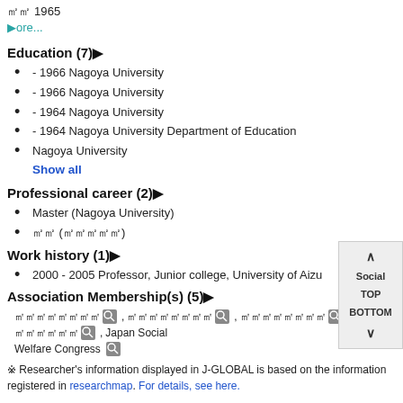㎜㎜ 1965
㎝ore...
Education (7)㎝
- 1966 Nagoya University
- 1966 Nagoya University
- 1964 Nagoya University
- 1964 Nagoya University Department of Education
Nagoya University
Show all
Professional career (2)㎝
Master (Nagoya University)
㎜㎜ (㎜㎜㎜㎜㎜)
Work history (1)㎝
2000 - 2005 Professor, Junior college, University of Aizu
Association Membership(s) (5)㎝
㎜㎜㎜㎜㎜㎜㎜㎜ , ㎜㎜㎜㎜㎜㎜㎜㎜ , ㎜㎜㎜㎜㎜㎜㎜㎜ , ㎜㎜㎜㎜㎜㎜ , Japan Social Welfare Congress
※ Researcher's information displayed in J-GLOBAL is based on the information registered in researchmap. For details, see here.